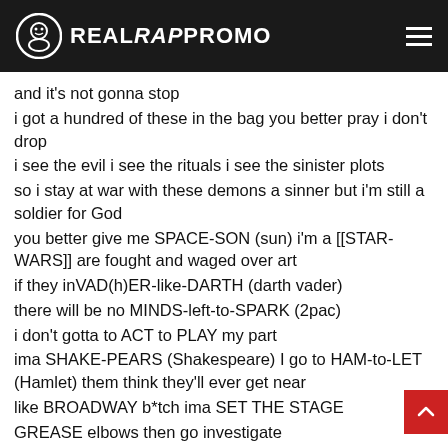REALRAPPROMO
and it's not gonna stop
i got a hundred of these in the bag you better pray i don't drop
i see the evil i see the rituals i see the sinister plots
so i stay at war with these demons a sinner but i'm still a soldier for God
you better give me SPACE-SON (sun) i'm a [[STAR-WARS]] are fought and waged over art
if they inVAD(h)ER-like-DARTH (darth vader)
there will be no MINDS-left-to-SPARK (2pac)
i don't gotta to ACT to PLAY my part
ima SHAKE-PEARS (Shakespeare) I go to HAM-to-LET (Hamlet) them think they'll ever get near
like BROADWAY b*tch ima SET THE STAGE
GREASE elbows then go investigate
i think somethings going in on in this day n age cuz we